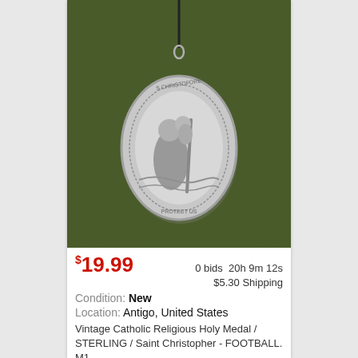[Figure (photo): A silver Saint Christopher religious medal pendant on a dark cord, photographed against an olive green fabric background. The oval medal shows a figure of Saint Christopher carrying a child, with text around the border.]
$19.99  0 bids  20h 9m 12s  $5.30 Shipping
Condition: New
Location: Antigo, United States
Vintage Catholic Religious Holy Medal / STERLING / Saint Christopher - FOOTBALL. M1